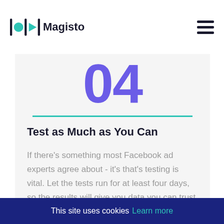[Figure (logo): Magisto logo with circular and play button icons]
04
Test as Much as You Can
If there's something most Facebook ad experts agree about - it's that's testing is vital. Let the tests run for at least four days, so the results will give you data you can trust about your audience and what works (or not). Read more
This site uses cookies Learn more